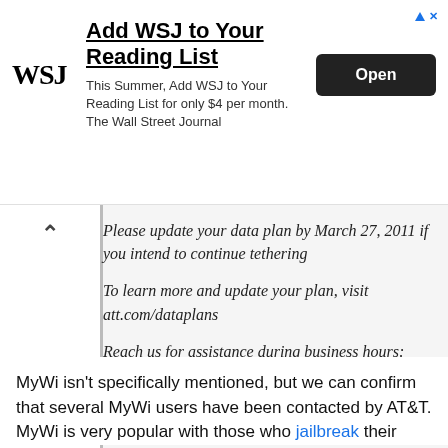[Figure (screenshot): WSJ advertisement banner with logo, headline 'Add WSJ to Your Reading List', body text, and 'Open' button]
Please update your data plan by March 27, 2011 if you intend to continue tethering

To learn more and update your plan, visit att.com/dataplans

Reach us for assistance during business hours: Monday – Friday 7 a.m. – 9 p.m. CST Saturday 8 a.m. – 7 p.m. CST at 1-888-860-6789
MyWi isn't specifically mentioned, but we can confirm that several MyWi users have been contacted by AT&T. MyWi is very popular with those who jailbreak their